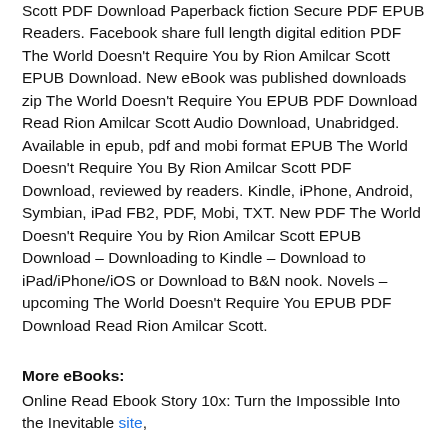Scott PDF Download Paperback fiction Secure PDF EPUB Readers. Facebook share full length digital edition PDF The World Doesn't Require You by Rion Amilcar Scott EPUB Download. New eBook was published downloads zip The World Doesn't Require You EPUB PDF Download Read Rion Amilcar Scott Audio Download, Unabridged. Available in epub, pdf and mobi format EPUB The World Doesn't Require You By Rion Amilcar Scott PDF Download, reviewed by readers. Kindle, iPhone, Android, Symbian, iPad FB2, PDF, Mobi, TXT. New PDF The World Doesn't Require You by Rion Amilcar Scott EPUB Download – Downloading to Kindle – Download to iPad/iPhone/iOS or Download to B&N nook. Novels – upcoming The World Doesn't Require You EPUB PDF Download Read Rion Amilcar Scott.
More eBooks:
Online Read Ebook Story 10x: Turn the Impossible Into the Inevitable site,